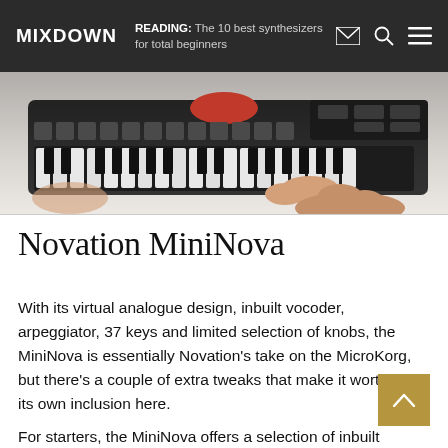MIXDOWN   READING: The 10 best synthesizers for total beginners
[Figure (photo): Hands playing/touching a small dark MIDI keyboard controller with grid pads and keys, viewed from above on a white surface. A red button is visible near the top.]
Novation MiniNova
With its virtual analogue design, inbuilt vocoder, arpeggiator, 37 keys and limited selection of knobs, the MiniNova is essentially Novation’s take on the MicroKorg, but there’s a couple of extra tweaks that make it worthy of its own inclusion here.
For starters, the MiniNova offers a selection of inbuilt